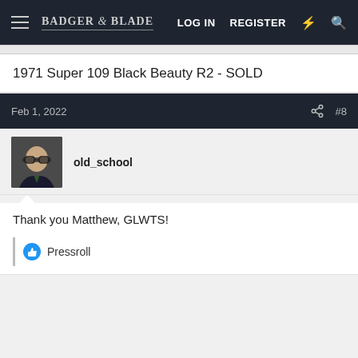Badger & Blade — LOG IN  REGISTER
1971 Super 109 Black Beauty R2 - SOLD
Feb 1, 2022   #8
old_school
Thank you Matthew, GLWTS!
Pressroll